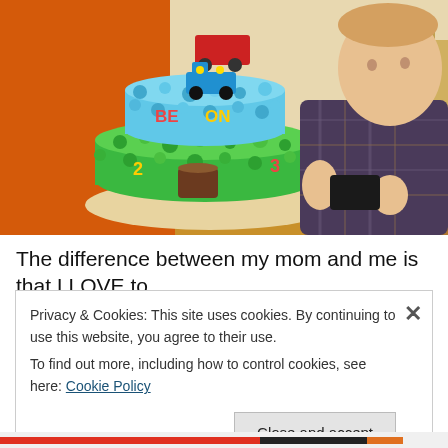[Figure (photo): A birthday cake decorated with blue and green frosting resembling a Thomas the Tank Engine scene, with numbers on it, sitting on a wooden table. A toddler in a plaid shirt stands to the right looking at the cake. A woman in red stands in the background near tables and chairs.]
The difference between my mom and me is that I LOVE to
Privacy & Cookies: This site uses cookies. By continuing to use this website, you agree to their use.
To find out more, including how to control cookies, see here: Cookie Policy
Close and accept